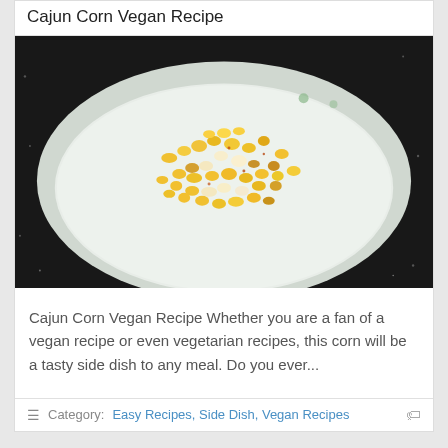Cajun Corn Vegan Recipe
[Figure (photo): A white bowl filled with seasoned Cajun corn kernels, photographed on a dark granite surface.]
Cajun Corn Vegan Recipe Whether you are a fan of a vegan recipe or even vegetarian recipes, this corn will be a tasty side dish to any meal. Do you ever...
Category: Easy Recipes, Side Dish, Vegan Recipes